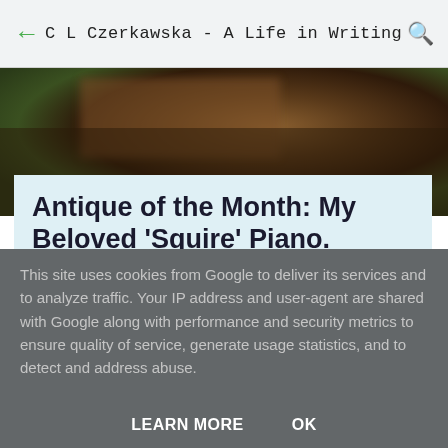C L Czerkawska - A Life in Writing
[Figure (photo): Blurred brown and dark background hero image]
Antique of the Month: My Beloved 'Squire' Piano.
November 01, 2017
This site uses cookies from Google to deliver its services and to analyze traffic. Your IP address and user-agent are shared with Google along with performance and security metrics to ensure quality of service, generate usage statistics, and to detect and address abuse.
LEARN MORE    OK